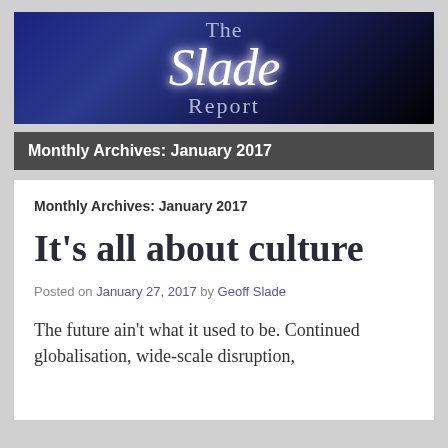[Figure (logo): The Slade Report blog header banner with dark blue to black gradient background and white stylized text reading 'The Slade Report']
Monthly Archives: January 2017
Monthly Archives: January 2017
It’s all about culture
Posted on January 27, 2017 by Geoff Slade
The future ain’t what it used to be. Continued globalisation, wide-scale disruption,